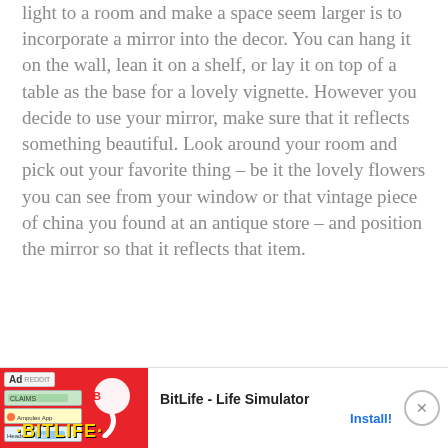light to a room and make a space seem larger is to incorporate a mirror into the decor. You can hang it on the wall, lean it on a shelf, or lay it on top of a table as the base for a lovely vignette. However you decide to use your mirror, make sure that it reflects something beautiful. Look around your room and pick out your favorite thing – be it the lovely flowers you can see from your window or that vintage piece of china you found at an antique store – and position the mirror so that it reflects that item.
[Figure (screenshot): Advertisement banner for BitLife - Life Simulator mobile game with red background, game screenshots, sperm mascot logo, app title and Install button]